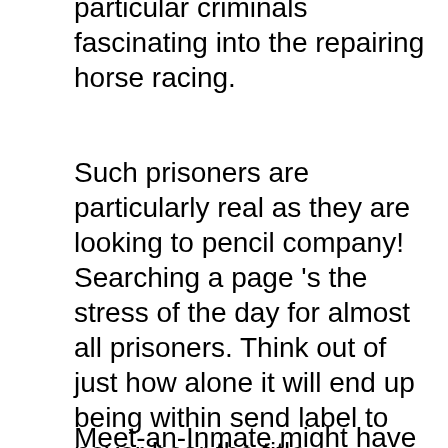particular criminals fascinating into the repairing horse racing.
Such prisoners are particularly real as they are looking to pencil company! Searching a page 's the stress of the day for almost all prisoners. Think out of just how alone it will end up being within send label to never hear the title becoming entitled, specifically just after getting locked-up for several years and you may family unit members and you will family possess deserted your. Such prisoners can not wait to listen from you! Do not be bashful, give it a try! Make the day of a lonely inmate!
Meet-an-Inmate might have been permitting